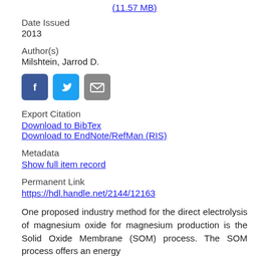(11.57 MB)
Date Issued
2013
Author(s)
Milshtein, Jarrod D.
[Figure (other): Social share buttons: Facebook (blue), Twitter (light blue), Email (gray)]
Export Citation
Download to BibTex
Download to EndNote/RefMan (RIS)
Metadata
Show full item record
Permanent Link
https://hdl.handle.net/2144/12163
One proposed industry method for the direct electrolysis of magnesium oxide for magnesium production is the Solid Oxide Membrane (SOM) process. The SOM process offers an energy